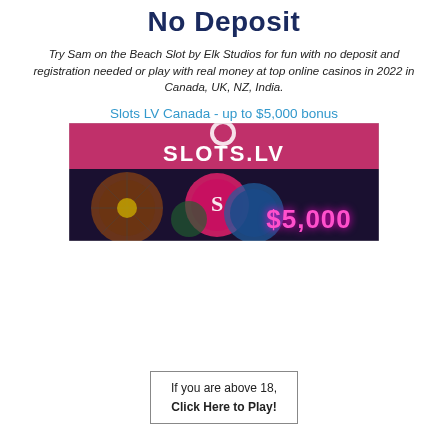No Deposit
Try Sam on the Beach Slot by Elk Studios for fun with no deposit and registration needed or play with real money at top online casinos in 2022 in Canada, UK, NZ, India.
Slots LV Canada - up to $5,000 bonus
[Figure (illustration): Slots.LV casino banner with pink header bar showing SLOTS.LV logo and casino chips with '$5,000' text over a dark background with roulette wheel]
If you are above 18, Click Here to Play!